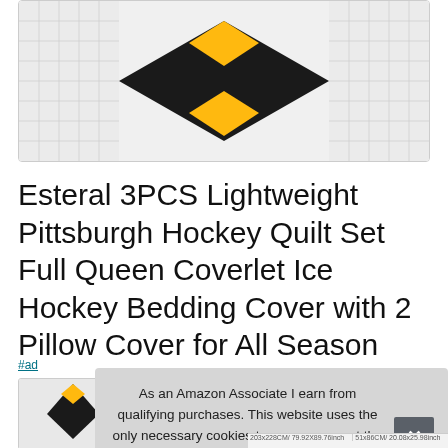[Figure (photo): Product image of Pittsburgh Hockey Quilt Set showing black, gold, and white quilted pattern with hockey design, partially cropped at top]
Esteral 3PCS Lightweight Pittsburgh Hockey Quilt Set Full Queen Coverlet Ice Hockey Bedding Cover with 2 Pillow Cover for All Season
#ad
[Figure (photo): Second product image thumbnail partially visible at bottom left]
As an Amazon Associate I earn from qualifying purchases. This website uses the only necessary cookies to ensure you get the best experience on our website. More information